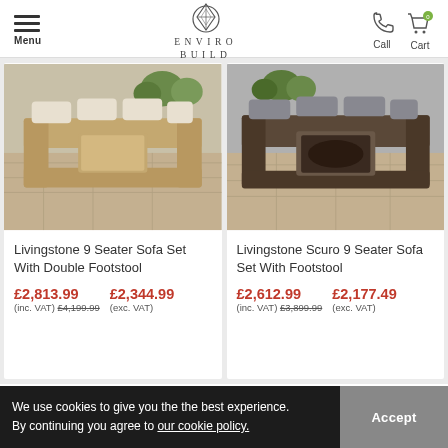Menu | ENVIRO BUILD | Call | Cart
[Figure (photo): Livingstone 9 Seater Sofa Set with double footstool in natural wicker with cream cushions on stone patio]
Livingstone 9 Seater Sofa Set With Double Footstool
£2,813.99 (inc. VAT) £4,199.99   £2,344.99 (exc. VAT)
[Figure (photo): Livingstone Scuro 9 Seater Sofa Set with footstool in dark wicker with grey cushions on stone patio]
Livingstone Scuro 9 Seater Sofa Set With Footstool
£2,612.99 (inc. VAT) £3,899.99   £2,177.49 (exc. VAT)
We use cookies to give you the the best experience. By continuing you agree to our cookie policy.